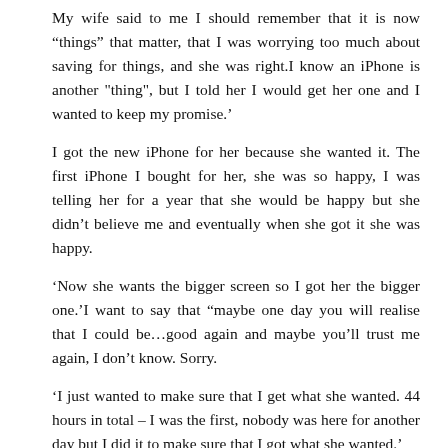My wife said to me I should remember that it is now “things” that matter, that I was worrying too much about saving for things, and she was right.I know an iPhone is another “thing”, but I told her I would get her one and I wanted to keep my promise.’
I got the new iPhone for her because she wanted it. The first iPhone I bought for her, she was so happy, I was telling her for a year that she would be happy but she didn’t believe me and eventually when she got it she was happy.
‘Now she wants the bigger screen so I got her the bigger one.’I want to say that “maybe one day you will realise that I could be…good again and maybe you’ll trust me again, I don’t know. Sorry.
‘I just wanted to make sure that I get what she wanted. 44 hours in total – I was the first, nobody was here for another day but I did it to make sure that I got what she wanted.’